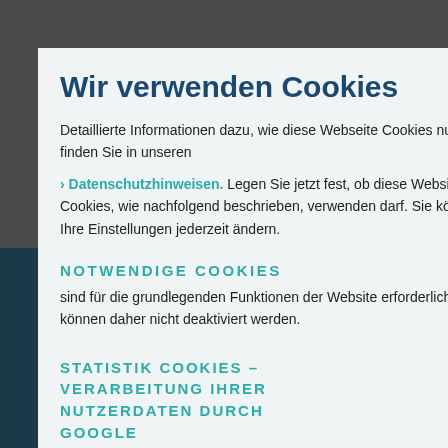Wir verwenden Cookies
Detaillierte Informationen dazu, wie diese Webseite Cookies nutzt, finden Sie in unseren › Datenschutzhinweisen. Legen Sie jetzt fest, ob diese Website Cookies, wie nachfolgend beschrieben, verwenden darf. Sie können Ihre Einstellungen jederzeit ändern.
NOTWENDIGE COOKIES
sind für die grundlegenden Funktionen der Website erforderlich und können daher nicht deaktiviert werden.
STATISTIK COOKIES – VERARBEITUNG IHRER NUTZERDATEN DURCH GOOGLE
Statistik Cookies die...